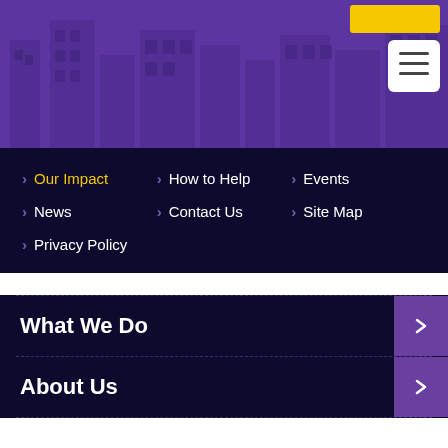[Figure (illustration): Purple banner header with city building silhouettes in background, a yellow bar in upper right, and a white hamburger menu button]
> Our Impact
> How to Help
> Events
> News
> Contact Us
> Site Map
> Privacy Policy
What We Do
About Us
[Figure (logo): Smilezone logo with yellow sun rays and text 'smilezone' in yellow]